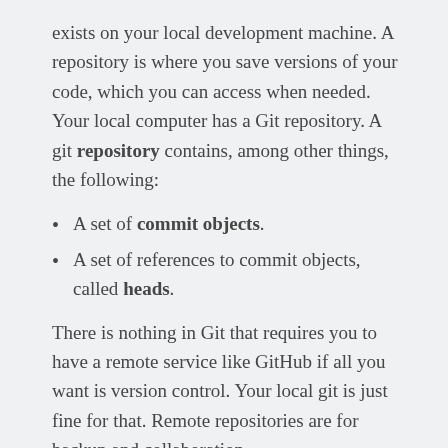exists on your local development machine. A repository is where you save versions of your code, which you can access when needed. Your local computer has a Git repository. A git repository contains, among other things, the following:
A set of commit objects.
A set of references to commit objects, called heads.
There is nothing in Git that requires you to have a remote service like GitHub if all you want is version control. Your local git is just fine for that. Remote repositories are for backup and collaboration.
Many repositories work with Git, such as BitBucket, Source Forge, GitHub, and others that will